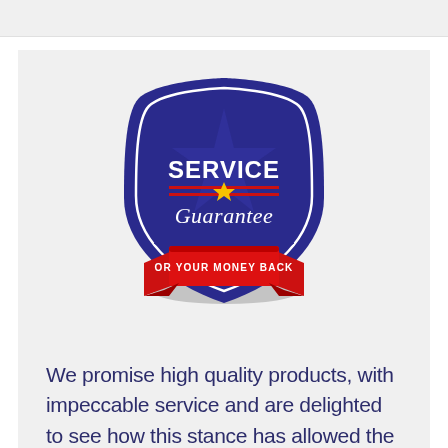[Figure (logo): Service Guarantee badge — dark blue shield with white border, 'SERVICE' in bold white uppercase, a gold star with red horizontal line dividers, 'Guarantee' in white cursive script, and a red ribbon banner across the bottom reading 'OR YOUR MONEY BACK' in white uppercase text.]
We promise high quality products, with impeccable service and are delighted to see how this stance has allowed the business to grow and grow!